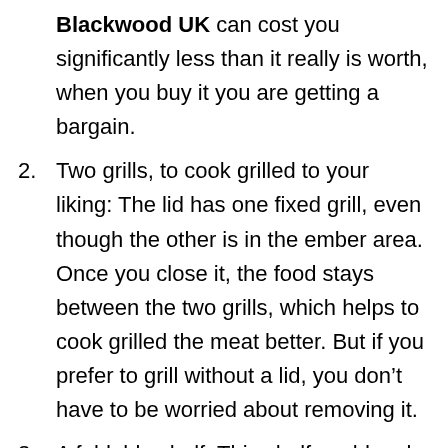Blackwood UK can cost you significantly less than it really is worth, when you buy it you are getting a bargain.
Two grills, to cook grilled to your liking: The lid has one fixed grill, even though the other is in the ember area. Once you close it, the food stays between the two grills, which helps to cook grilled the meat better. But if you prefer to grill without a lid, you don't have to be worried about removing it.
A foldable shelf: This shelf could make your daily life as well as your outdoors bbq grill party session as you are able to